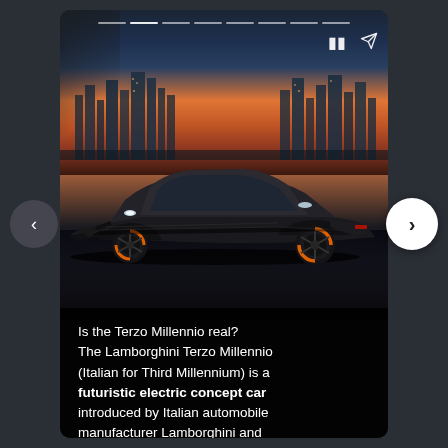[Figure (photo): A futuristic black Lamborghini Terzo Millennio electric concept car photographed at low angle against a sunset city skyline backdrop with orange tones]
Is the Terzo Millennio real? The Lamborghini Terzo Millennio (Italian for Third Millennium) is a futuristic electric concept car introduced by Italian automobile manufacturer Lamborghini and developed in collaboration with th